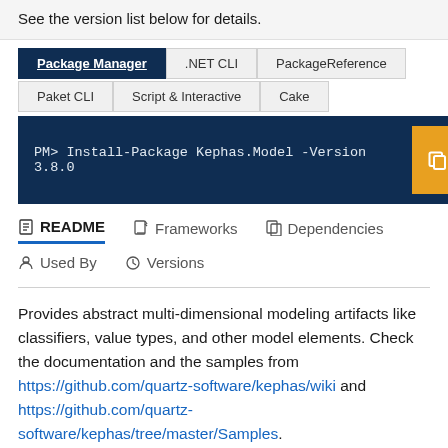See the version list below for details.
Package Manager | .NET CLI | PackageReference | Paket CLI | Script & Interactive | Cake
PM> Install-Package Kephas.Model -Version 3.8.0
README | Frameworks | Dependencies | Used By | Versions
Provides abstract multi-dimensional modeling artifacts like classifiers, value types, and other model elements. Check the documentation and the samples from https://github.com/quartz-software/kephas/wiki and https://github.com/quartz-software/kephas/tree/master/Samples.